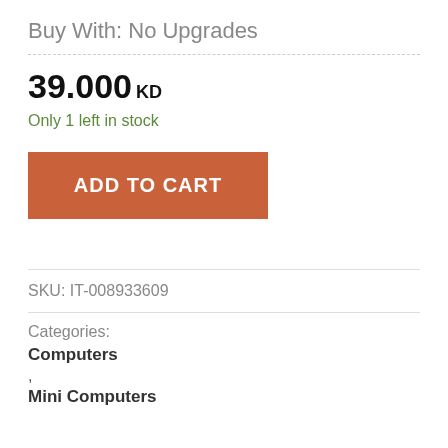Buy With: No Upgrades
39.000 KD
Only 1 left in stock
ADD TO CART
SKU: IT-008933609
Categories:
Computers
,
Mini Computers